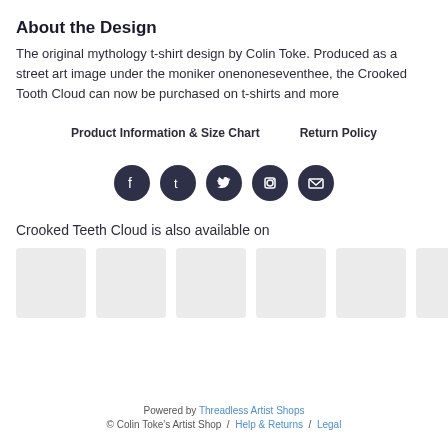About the Design
The original mythology t-shirt design by Colin Toke. Produced as a street art image under the moniker onenoneseventhee, the Crooked Tooth Cloud can now be purchased on t-shirts and more
Product Information & Size Chart    Return Policy
[Figure (infographic): Row of 5 social media sharing icons (Facebook, Tumblr, Twitter, Pinterest, Email) as dark circular buttons]
Crooked Teeth Cloud is also available on
[Figure (photo): Row of 6 light gray product thumbnail placeholder images]
Powered by Threadless Artist Shops
© Colin Toke's Artist Shop  /  Help & Returns  /  Legal